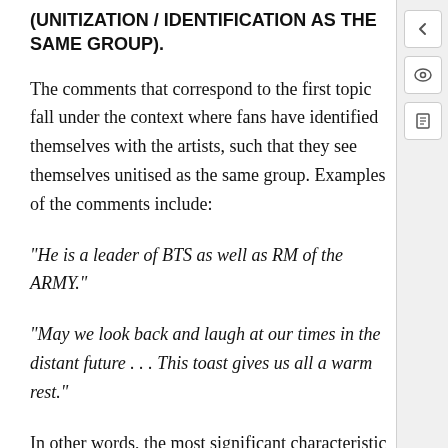(UNITIZATION / IDENTIFICATION AS THE SAME GROUP).
The comments that correspond to the first topic fall under the context where fans have identified themselves with the artists, such that they see themselves unitised as the same group. Examples of the comments include:
“He is a leader of BTS as well as RM of the ARMY.”
“May we look back and laugh at our times in the distant future . . . This toast gives us all a warm rest.”
In other words, the most significant characteristic of Topic 1 is that people think of